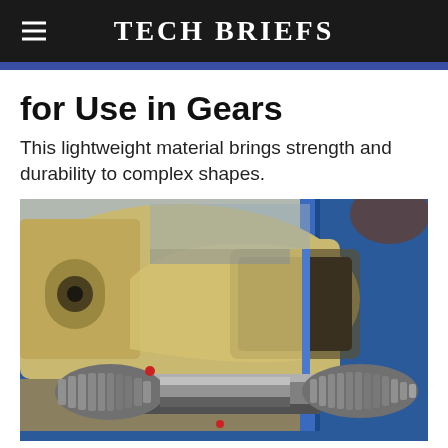Tech Briefs
for Use in Gears
This lightweight material brings strength and durability to complex shapes.
[Figure (photo): Close-up photograph of mechanical gear assembly showing beige/tan colored composite gear components with blue metallic housing and steel splined shafts and gears.]